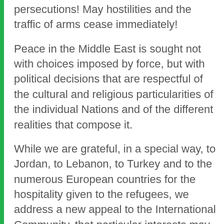persecutions! May hostilities and the traffic of arms cease immediately!
Peace in the Middle East is sought not with choices imposed by force, but with political decisions that are respectful of the cultural and religious particularities of the individual Nations and of the different realities that compose it.
While we are grateful, in a special way, to Jordan, to Lebanon, to Turkey and to the numerous European countries for the hospitality given to the refugees, we address a new appeal to the International Community, that particular interests may be put aside and that it entrust itself, in the search for solutions, to the instruments of diplomacy, of dialogue and of International Law.